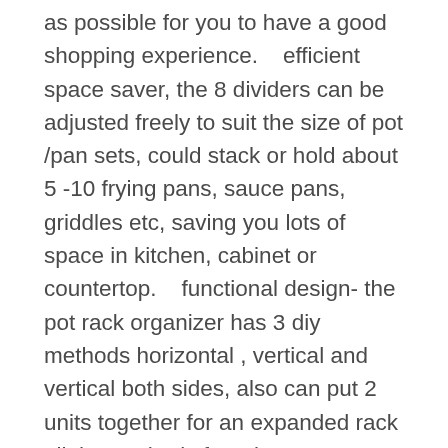as possible for you to have a good shopping experience.    efficient space saver, the 8 dividers can be adjusted freely to suit the size of pot /pan sets, could stack or hold about 5 -10 frying pans, sauce pans, griddles etc, saving you lots of space in kitchen, cabinet or countertop.    functional design- the pot rack organizer has 3 diy methods horizontal , vertical and vertical both sides, also can put 2 units together for an expanded rack all the methods for a better pan or lids holder and storage.    solid stable structure, special u shape groove with rubber design to hold the pot lids without scratches and steadily in place with the high-strength load-bearing structure and the spray anti-rust painting process finished, the pot organizer is stable and durable to sustain for many years.    easy set-up, no need for extra tools or screws it's super easy to mount it up by oneself in few minutes the detailed instruction and all